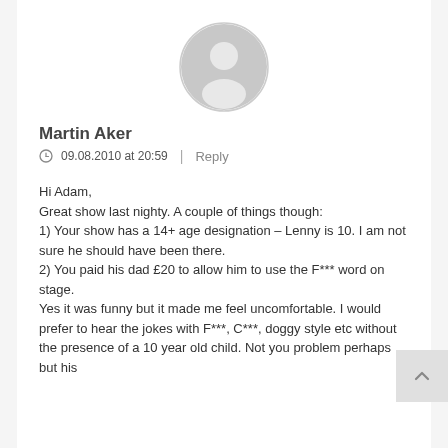[Figure (illustration): Default user avatar: circular grey silhouette of a person on white background]
Martin Aker
09.08.2010 at 20:59  |  Reply
Hi Adam,
Great show last nighty. A couple of things though:
1) Your show has a 14+ age designation – Lenny is 10. I am not sure he should have been there.
2) You paid his dad £20 to allow him to use the F*** word on stage.
Yes it was funny but it made me feel uncomfortable. I would prefer to hear the jokes with F***, C***, doggy style etc without the presence of a 10 year old child. Not you problem perhaps but his